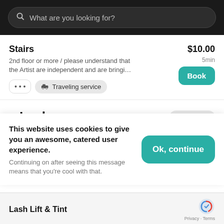[Figure (screenshot): Search bar with placeholder text 'What are you looking for?' on dark background]
Stairs
2nd floor or more / please understand that the Artist are independent and are bringi...
$10.00
5min
Traveling service
Lashes
4 services
This website uses cookies to give you an awesome, catered user experience.
Continuing on after seeing this message means that you're cool with that.
Lash Lift & Tint
Privacy · Terms